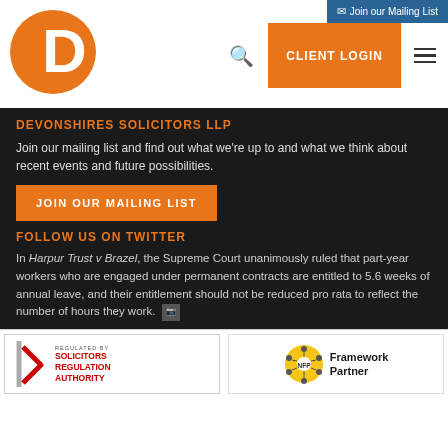[Figure (logo): Devonshires Solicitors LLP logo — orange oval with white letter D]
Join our Mailing List
CLIENT LOGIN
DEVONSHIRES SOLICITORS LLP
Join our mailing list and find out what we're up to and what we think about recent events and future possibilities.
JOIN OUR MAILING LIST
FOLLOW US ON TWITTER
In Harpur Trust v Brazel, the Supreme Court unanimously ruled that part-year workers who are engaged under permanent contracts are entitled to 5.6 weeks of annual leave, and their entitlement should not be reduced pro rata to reflect the number of hours they work.
[Figure (logo): Solicitors Regulation Authority logo — REGULATED BY SOLICITORS REGULATION AUTHORITY]
[Figure (logo): NFP Framework Partner logo — yellow circle with NFP text and connected dots, Framework Partner text]